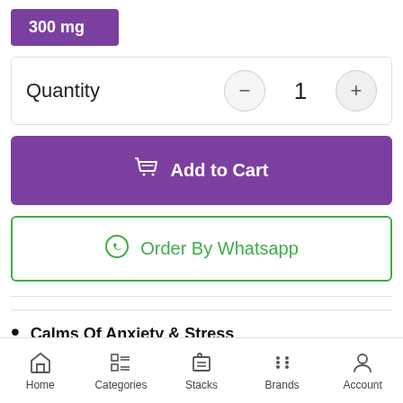300 mg
Quantity — 1 +
Add to Cart
Order By Whatsapp
Calms Of Anxiety & Stress
Home  Categories  Stacks  Brands  Account